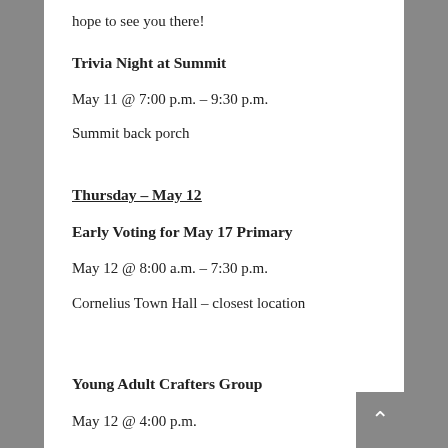hope to see you there!
Trivia Night at Summit
May 11 @ 7:00 p.m. – 9:30 p.m.
Summit back porch
Thursday – May 12
Early Voting for May 17 Primary
May 12 @ 8:00 a.m. – 7:30 p.m.
Cornelius Town Hall – closest location
Young Adult Crafters Group
May 12 @ 4:00 p.m.